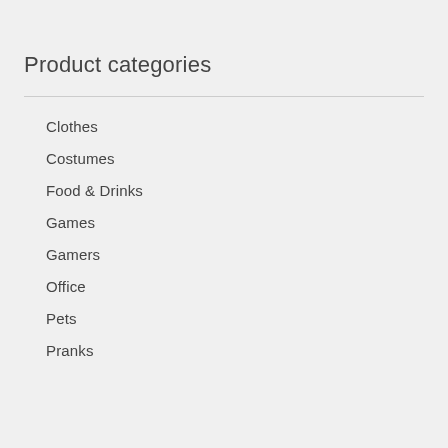Product categories
Clothes
Costumes
Food & Drinks
Games
Gamers
Office
Pets
Pranks